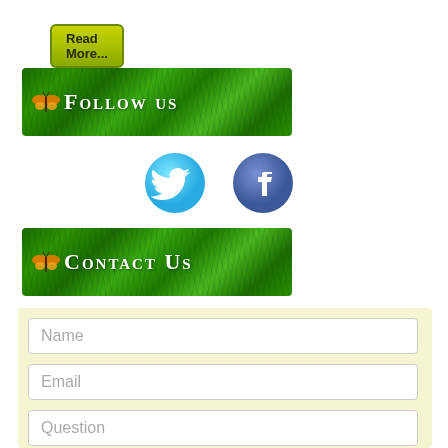[Figure (other): Read More button with olive/green gradient background]
[Figure (other): Follow Us banner with grass texture background and butterfly icon]
[Figure (other): Twitter bird icon (cyan circle with white t bird)]
[Figure (other): Facebook icon (dark blue circle with white f letter)]
[Figure (other): Contact Us banner with grass texture background and butterfly icon]
Name
Email
Question